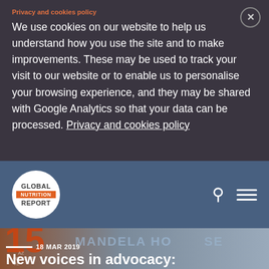Privacy and cookies policy
We use cookies on our website to help us understand how you use the site and to make improvements. These may be used to track your visit to our website or to enable us to personalise your browsing experience, and they may be shared with Google Analytics so that your data can be processed. Privacy and cookies policy
[Figure (logo): Global Nutrition Report circular logo with orange band]
18 MAR 2019
New voices in advocacy: